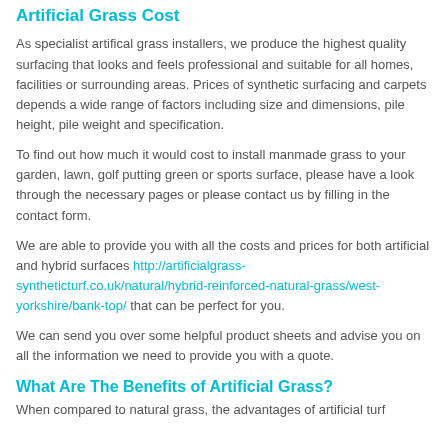Artificial Grass Cost
As specialist artifical grass installers, we produce the highest quality surfacing that looks and feels professional and suitable for all homes, facilities or surrounding areas. Prices of synthetic surfacing and carpets depends a wide range of factors including size and dimensions, pile height, pile weight and specification.
To find out how much it would cost to install manmade grass to your garden, lawn, golf putting green or sports surface, please have a look through the necessary pages or please contact us by filling in the contact form.
We are able to provide you with all the costs and prices for both artificial and hybrid surfaces http://artificialgrass-syntheticturf.co.uk/natural/hybrid-reinforced-natural-grass/west-yorkshire/bank-top/ that can be perfect for you.
We can send you over some helpful product sheets and advise you on all the information we need to provide you with a quote.
What Are The Benefits of Artificial Grass?
When compared to natural grass, the advantages of artificial turf